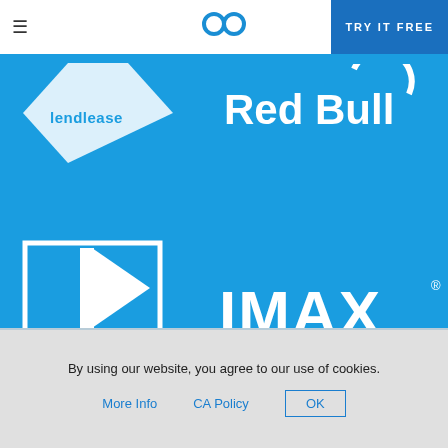≡  go  TRY IT FREE
[Figure (logo): Lendlease logo in white on blue background — partial diamond/arrow shape with 'lendlease' text]
[Figure (logo): Red Bull logo in white text on blue background: 'Red Bull']
[Figure (logo): PG&E logo in white on blue background — stylized triangle/flag shape with 'PG&E' text]
[Figure (logo): IMAX logo in white bold text with registered trademark symbol on blue background]
By using our website, you agree to our use of cookies.
More Info   CA Policy   OK